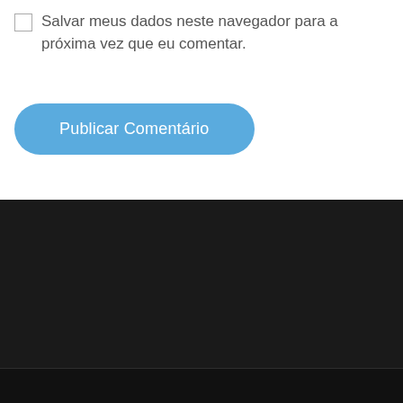Salvar meus dados neste navegador para a próxima vez que eu comentar.
[Figure (screenshot): A blue rounded button labeled 'Publicar Comentário']
[Figure (screenshot): Dark footer area with near-black background]